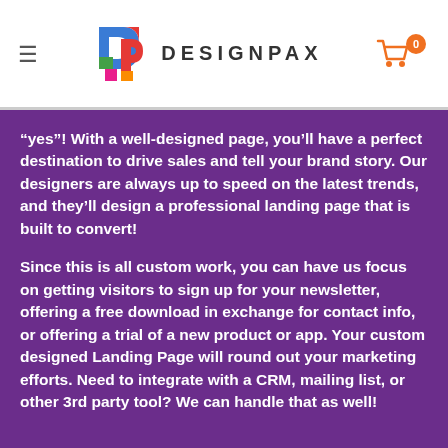[Figure (logo): DesignPax logo with colorful DP icon and DESIGNPAX wordmark in the page header]
“yes”! With a well-designed page, you’ll have a perfect destination to drive sales and tell your brand story. Our designers are always up to speed on the latest trends, and they’ll design a professional landing page that is built to convert!
Since this is all custom work, you can have us focus on getting visitors to sign up for your newsletter, offering a free download in exchange for contact info, or offering a trial of a new product or app. Your custom designed Landing Page will round out your marketing efforts. Need to integrate with a CRM, mailing list, or other 3rd party tool? We can handle that as well!